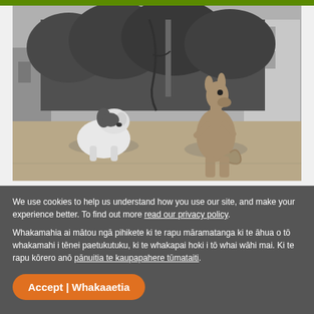[Figure (photo): Black and white photograph showing a dog sitting on sandy ground and a kangaroo standing upright, with bushy hedges and a building in the background.]
We use cookies to help us understand how you use our site, and make your experience better. To find out more read our privacy policy.
Whakamahia ai mātou ngā pihikete ki te rapu māramatanga ki te āhua o tō whakamahi i tēnei paetukutuku, ki te whakapai hoki i tō whai wāhi mai. Ki te rapu kōrero anō pānuitia te kaupapahere tūmataiti.
Accept | Whakaaetia